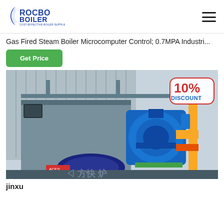[Figure (logo): Rocbo Boiler logo with tagline COST-EFFECTIVE BOILER SUPPLIER]
Gas Fired Steam Boiler Microcomputer Control; 0.7MPA Industri...
Get Price
[Figure (photo): Industrial gas fired steam boiler in a factory setting, with blue burner assembly and yellow gas piping. A 10% DISCOUNT badge is visible in the top right corner. Chinese watermark text visible.]
jinxu